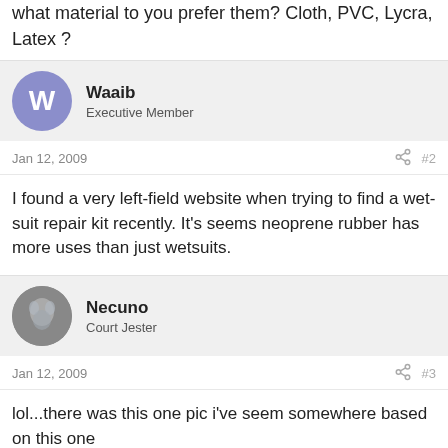what material to you prefer them? Cloth, PVC, Lycra, Latex ?
Waaib
Executive Member
Jan 12, 2009  #2
I found a very left-field website when trying to find a wet-suit repair kit recently. It's seems neoprene rubber has more uses than just wetsuits.
Necuno
Court Jester
Jan 12, 2009  #3
lol...there was this one pic i've seem somewhere based on this one
http://i95.photobucket.com/albums/l143/tony666_02/nun.jpg